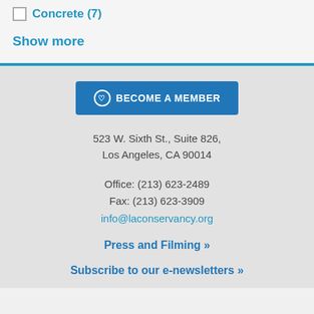Concrete (7)
Show more
BECOME A MEMBER
523 W. Sixth St., Suite 826,
Los Angeles, CA 90014
Office: (213) 623-2489
Fax: (213) 623-3909
info@laconservancy.org
Press and Filming »
Subscribe to our e-newsletters »